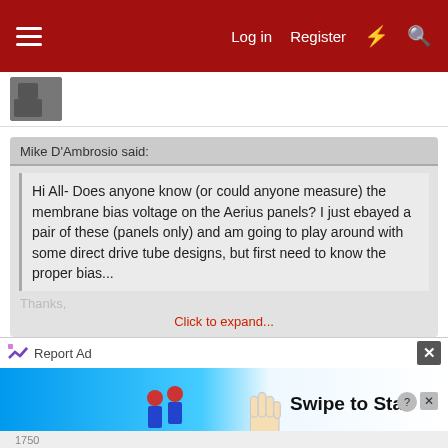Log in  Register
[Figure (screenshot): Small avatar/profile image thumbnail at top left]
Mike D'Ambrosio said:
Hi All- Does anyone know (or could anyone measure) the membrane bias voltage on the Aerius panels? I just ebayed a pair of these (panels only) and am going to play around with some direct drive tube designs, but first need to know the proper bias...
Thanks,
Click to expand...
Hola Mike...around 6KV. Hope this can help! Happy listening, pura vida,
Roberto.
Report Ad
[Figure (screenshot): Advertisement banner with blue background, figurines, hand cursor icon, and text 'Swipe to Star...']